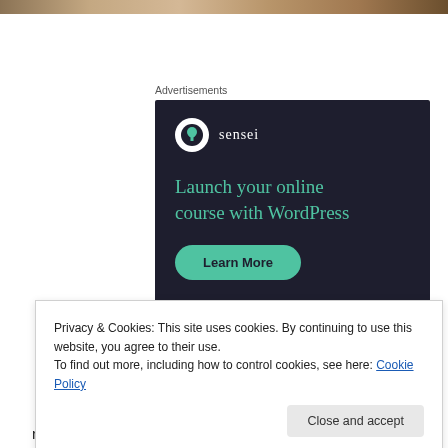[Figure (photo): Top banner image strip showing a warm-toned room scene]
Advertisements
[Figure (illustration): Sensei advertisement with dark background. Logo: white circle with tree icon and 'sensei' text. Headline: 'Launch your online course with WordPress'. Button: 'Learn More' in teal.]
Privacy & Cookies: This site uses cookies. By continuing to use this website, you agree to their use.
To find out more, including how to control cookies, see here: Cookie Policy
room configuration but with that we also got all sorts of